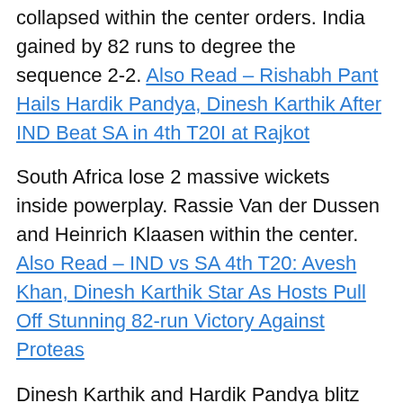collapsed within the center orders. India gained by 82 runs to degree the sequence 2-2. Also Read – Rishabh Pant Hails Hardik Pandya, Dinesh Karthik After IND Beat SA in 4th T20I at Rajkot
South Africa lose 2 massive wickets inside powerplay. Rassie Van der Dussen and Heinrich Klaasen within the center. Also Read – IND vs SA 4th T20: Avesh Khan, Dinesh Karthik Star As Hosts Pull Off Stunning 82-run Victory Against Proteas
Dinesh Karthik and Hardik Pandya blitz take India to a preventing rating (169/6 after 20 overs). South Africa want 170 to win the sequence. Will Indian bowlers repeat their efficiency from third T20. Bhuvneshwar Kumar